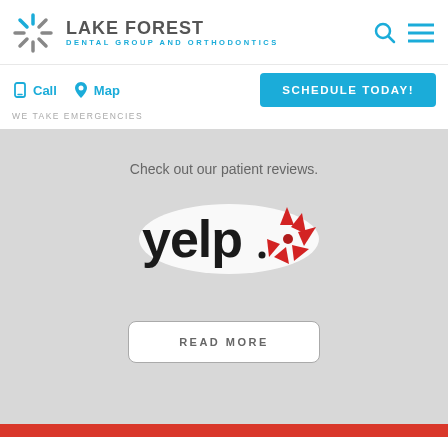[Figure (logo): Lake Forest Dental Group and Orthodontics logo with sunburst/asterisk icon in blue and gray]
LAKE FOREST
DENTAL GROUP AND ORTHODONTICS
[Figure (logo): Search icon (magnifying glass) in blue]
[Figure (logo): Hamburger menu icon in blue]
Call
Map
SCHEDULE TODAY!
WE TAKE EMERGENCIES
Check out our patient reviews.
[Figure (logo): Yelp logo with red burst/asterisk icon on gray background]
READ MORE